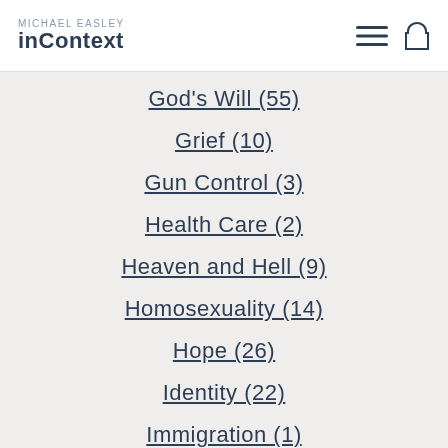MICHAEL EASLEY inContext
God's Will (55)
Grief (10)
Gun Control (3)
Health Care (2)
Heaven and Hell (9)
Homosexuality (14)
Hope (26)
Identity (22)
Immigration (1)